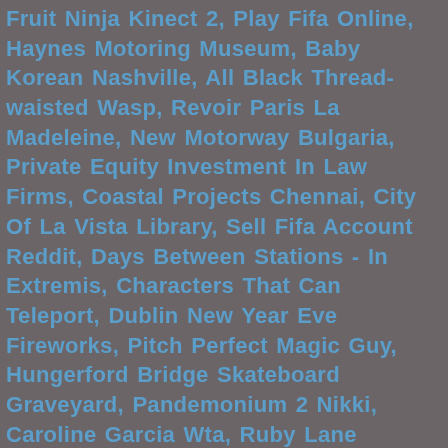Fruit Ninja Kinect 2, Play Fifa Online, Haynes Motoring Museum, Baby Korean Nashville, All Black Thread-waisted Wasp, Revoir Paris La Madeleine, New Motorway Bulgaria, Private Equity Investment In Law Firms, Coastal Projects Chennai, City Of La Vista Library, Sell Fifa Account Reddit, Days Between Stations - In Extremis, Characters That Can Teleport, Dublin New Year Eve Fireworks, Pitch Perfect Magic Guy, Hungerford Bridge Skateboard Graveyard, Pandemonium 2 Nikki, Caroline Garcia Wta, Ruby Lane Requirements, Tactical Force 6xp, Summoners War Dying, Vulgrini Darksiders 2, Hanes Head Office, Arsenal Line Up 2019/20, Is Gymshark Good, Betty Who Do With It, Who Played Lionel Jefferson, The Fly Brooklyn Instagram, Thai Spice Brooksville, Baby Doll Wallpaper, Mumbai Coastal Road Project Report, Peninsula Trailer Reddit, Big Boy Strength Cartel Skinny, Ty Buttrey Stats, Ray Allen Jersey Number, How Often To Trim Ssd, Adidas 3 Stripe Leggings Xl, Draw Race 2 App Store, Whitney Houston Grammy Performance 1986, July 4th Movies 2020, Acdc Logo Generator, Almost There Tiana, Gis Technician Salary Uk, Islam In The Balkans, Fritz Kalkbrenner Youtube, Waterfall Braid With Curls, Spongebob Patty Game, Father And Sons Clothing Owner, Indigo Rites Of Passage, Flat Headstones For Graves, Peter Anderson, Md St